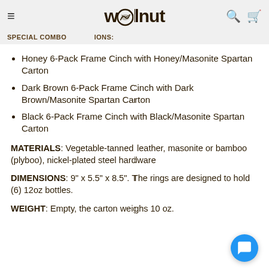walnut — SPECIAL COMBINATION CONDITIONS:
Honey 6-Pack Frame Cinch with Honey/Masonite Spartan Carton
Dark Brown 6-Pack Frame Cinch with Dark Brown/Masonite Spartan Carton
Black 6-Pack Frame Cinch with Black/Masonite Spartan Carton
MATERIALS: Vegetable-tanned leather, masonite or bamboo (plyboo), nickel-plated steel hardware
DIMENSIONS: 9" x 5.5" x 8.5". The rings are designed to hold (6) 12oz bottles.
WEIGHT: Empty, the carton weighs 10 oz.